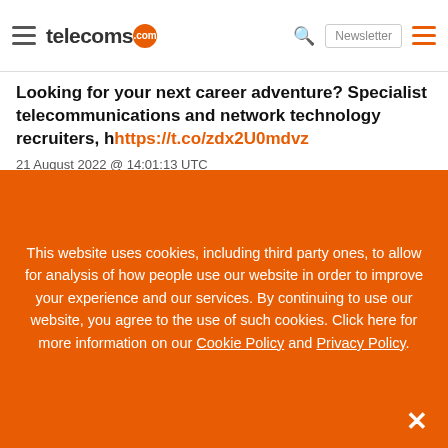telecoms.com
Looking for your next career adventure? Specialist telecommunications and network technology recruiters, h https://t.co/zdx2U0mdvz
21 August 2022 @ 14:01:13 UTC
Momentum in the RAN market is 'losing some steam'. According to a report by analyst outfit Dell'Oro Group, the...
This website uses cookies, including third party ones, to allow for analysis of how people use our website in order to improve your experience and our services. By continuing to use our website, you agree to the use of such cookies. Click here for more information on our Cookie Policy and Privacy Policy.